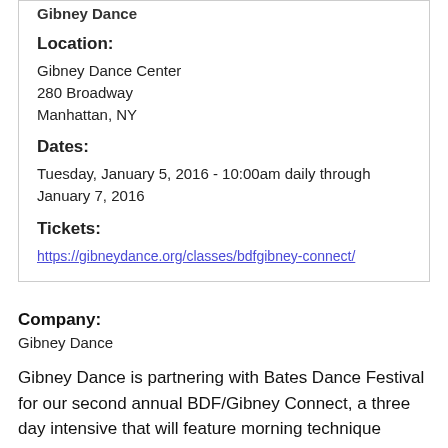Gibney Dance
Location:
Gibney Dance Center
280 Broadway
Manhattan, NY
Dates:
Tuesday, January 5, 2016 - 10:00am daily through January 7, 2016
Tickets:
https://gibneydance.org/classes/bdfgibney-connect/
Company:
Gibney Dance
Gibney Dance is partnering with Bates Dance Festival for our second annual BDF/Gibney Connect, a three day intensive that will feature morning technique classes taught by Kendra Portier, member of David